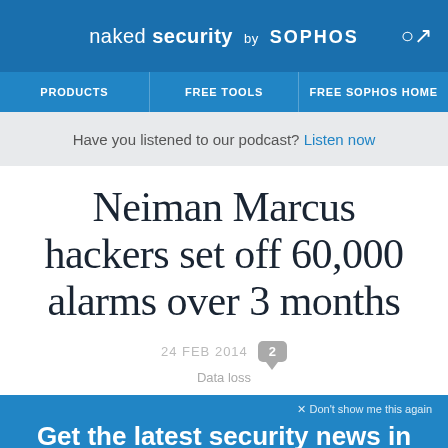naked security by SOPHOS
PRODUCTS | FREE TOOLS | FREE SOPHOS HOME
Have you listened to our podcast? Listen now
Neiman Marcus hackers set off 60,000 alarms over 3 months
24 FEB 2014  2
Data loss
× Don't show me this again
Get the latest security news in